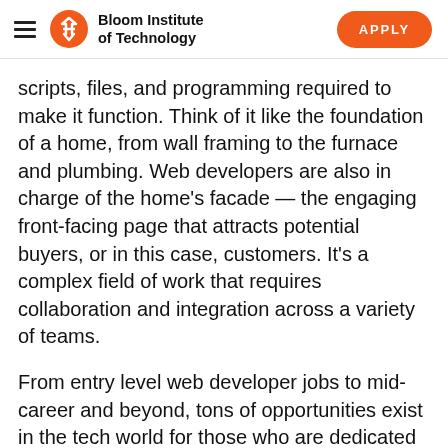Bloom Institute of Technology | APPLY
scripts, files, and programming required to make it function. Think of it like the foundation of a home, from wall framing to the furnace and plumbing. Web developers are also in charge of the home's facade — the engaging front-facing page that attracts potential buyers, or in this case, customers. It's a complex field of work that requires collaboration and integration across a variety of teams.
From entry level web developer jobs to mid-career and beyond, tons of opportunities exist in the tech world for those who are dedicated to finding fulfilling technology careers...